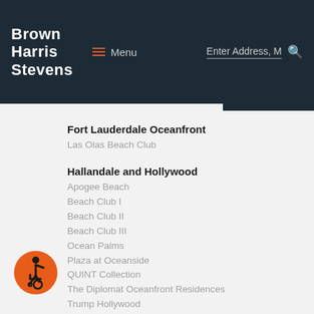Brown Harris Stevens — Menu — Enter Address, M [search]
Fort Lauderdale Oceanfront
Las Olas Beach Club
Hallandale and Hollywood
Apogee Beach
Beach Club I
Beach Club II
Beach Club III
Ocean Palms
Plaza at Oceanside
QUINT Collection
The Diplomat Oceanfront Residences
Trump Hollywood
2000 Ocean
Boca Raton Luxury
e Thousand Ocean
[Figure (illustration): Orange circle accessibility/wheelchair icon]
Miami Beach ...